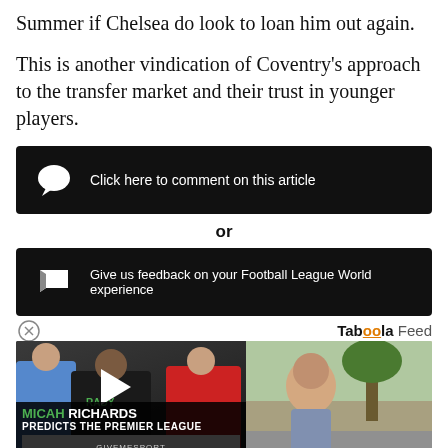Summer if Chelsea do look to loan him out again.
This is another vindication of Coventry’s approach to the transfer market and their trust in younger players.
[Figure (other): Black button bar with comment speech bubble icon and text: Click here to comment on this article]
or
[Figure (other): Black button bar with flag icon and text: Give us feedback on your Football League World experience]
[Figure (other): Taboola Feed logo with close button, video thumbnail overlay showing Micah Richards Predicts the Premier League (GiveMeSport) with play button, and a photo of a woman outdoors near a street]
Taboola Feed